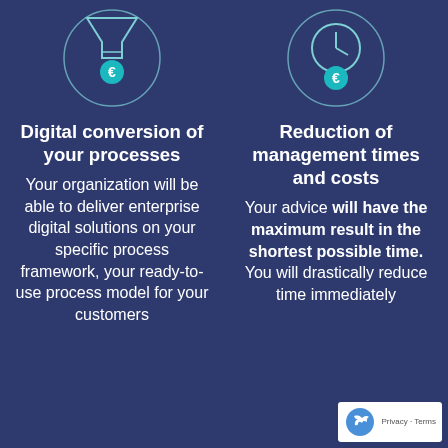[Figure (illustration): Two circular icons with euro symbols on a dark blue background, one on the left column and one on the right column at the top of the page]
Digital conversion of your processes
Your organization will be able to deliver enterprise digital solutions on your specific process framework, your ready-to-use process model for your customers
Reduction of management times and costs
Your advice will have the maximum result in the shortest possible time. You will drastically reduce time immediately